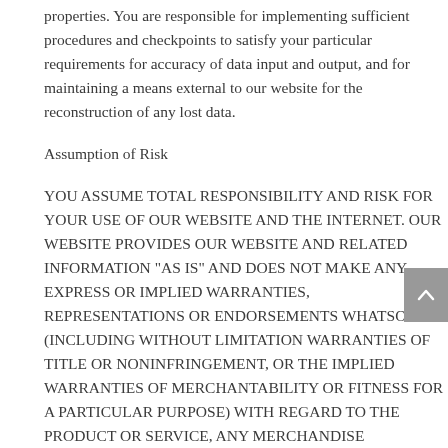properties. You are responsible for implementing sufficient procedures and checkpoints to satisfy your particular requirements for accuracy of data input and output, and for maintaining a means external to our website for the reconstruction of any lost data.
Assumption of Risk
YOU ASSUME TOTAL RESPONSIBILITY AND RISK FOR YOUR USE OF OUR WEBSITE AND THE INTERNET. OUR WEBSITE PROVIDES OUR WEBSITE AND RELATED INFORMATION "AS IS" AND DOES NOT MAKE ANY EXPRESS OR IMPLIED WARRANTIES, REPRESENTATIONS OR ENDORSEMENTS WHATSOEVER (INCLUDING WITHOUT LIMITATION WARRANTIES OF TITLE OR NONINFRINGEMENT, OR THE IMPLIED WARRANTIES OF MERCHANTABILITY OR FITNESS FOR A PARTICULAR PURPOSE) WITH REGARD TO THE PRODUCT OR SERVICE, ANY MERCHANDISE INFORMATION OR SERVICE PROVIDED THROUGH THE